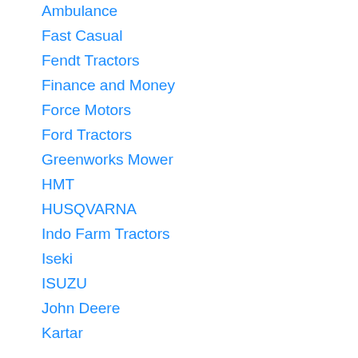Ambulance
Fast Casual
Fendt Tractors
Finance and Money
Force Motors
Ford Tractors
Greenworks Mower
HMT
HUSQVARNA
Indo Farm Tractors
Iseki
ISUZU
John Deere
Kartar